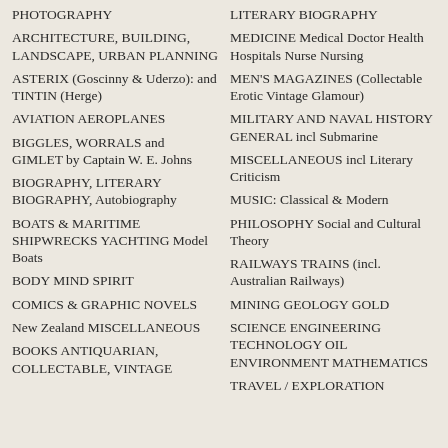PHOTOGRAPHY
ARCHITECTURE, BUILDING, LANDSCAPE, URBAN PLANNING
ASTERIX (Goscinny & Uderzo): and TINTIN (Herge)
AVIATION AEROPLANES
BIGGLES, WORRALS and GIMLET by Captain W. E. Johns
BIOGRAPHY, LITERARY BIOGRAPHY, Autobiography
BOATS & MARITIME SHIPWRECKS YACHTING Model Boats
BODY MIND SPIRIT
COMICS & GRAPHIC NOVELS
New Zealand MISCELLANEOUS
BOOKS ANTIQUARIAN, COLLECTABLE, VINTAGE
LITERARY BIOGRAPHY
MEDICINE Medical Doctor Health Hospitals Nurse Nursing
MEN'S MAGAZINES (Collectable Erotic Vintage Glamour)
MILITARY AND NAVAL HISTORY GENERAL incl Submarine
MISCELLANEOUS incl Literary Criticism
MUSIC: Classical & Modern
PHILOSOPHY Social and Cultural Theory
RAILWAYS TRAINS (incl. Australian Railways)
MINING GEOLOGY GOLD
SCIENCE ENGINEERING TECHNOLOGY OIL ENVIRONMENT MATHEMATICS
TRAVEL / EXPLORATION